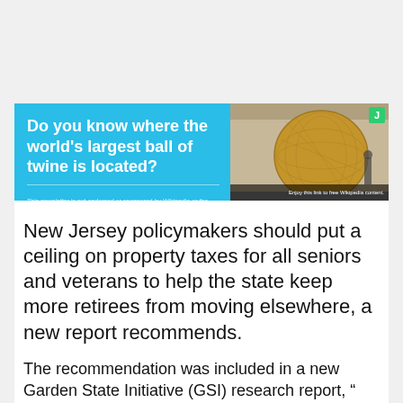[Figure (photo): Advertisement banner with sky-blue background on the left showing text 'Do you know where the world's largest ball of twine is located?' with a photo on the right of a large ball of twine under a covered structure. Small green 'J' badge in top-right corner. Footer text: 'This newsletter is not endorsed or sponsored by Wikipedia or the Wikimedia Foundation' and 'Enjoy this link to free Wikipedia content.']
New Jersey policymakers should put a ceiling on property taxes for all seniors and veterans to help the state keep more retirees from moving elsewhere, a new report recommends.
The recommendation was included in a new Garden State Initiative (GSI) research report, " Retirees and New Jersey: How we can be